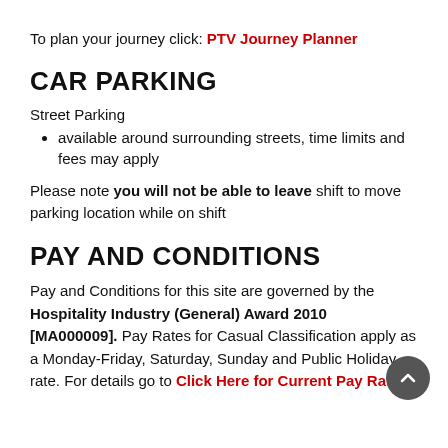To plan your journey click: PTV Journey Planner
CAR PARKING
Street Parking
available around surrounding streets, time limits and fees may apply
Please note you will not be able to leave shift to move parking location while on shift
PAY AND CONDITIONS
Pay and Conditions for this site are governed by the Hospitality Industry (General) Award 2010 [MA000009]. Pay Rates for Casual Classification apply as a Monday-Friday, Saturday, Sunday and Public Holiday rate. For details go to Click Here for Current Pay Rates